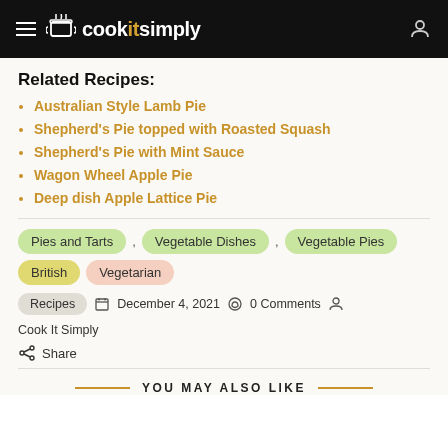cookitsimply
Related Recipes:
Australian Style Lamb Pie
Shepherd's Pie topped with Roasted Squash
Shepherd's Pie with Mint Sauce
Wagon Wheel Apple Pie
Deep dish Apple Lattice Pie
Pies and Tarts , Vegetable Dishes , Vegetable Pies , British , Vegetarian
Recipes   December 4, 2021   0 Comments   Cook It Simply
Share
YOU MAY ALSO LIKE